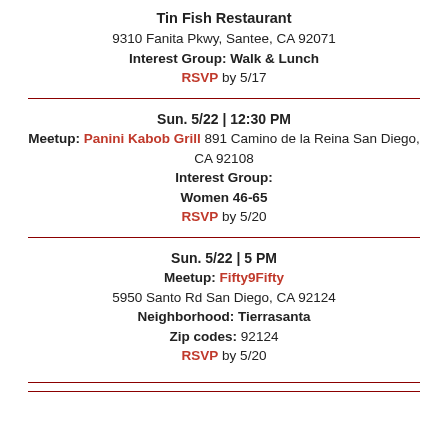Tin Fish Restaurant
9310 Fanita Pkwy, Santee, CA 92071
Interest Group: Walk & Lunch
RSVP by 5/17
Sun. 5/22 | 12:30 PM
Meetup: Panini Kabob Grill 891 Camino de la Reina San Diego, CA 92108
Interest Group:
Women 46-65
RSVP by 5/20
Sun. 5/22 | 5 PM
Meetup: Fifty9Fifty
5950 Santo Rd San Diego, CA 92124
Neighborhood: Tierrasanta
Zip codes: 92124
RSVP by 5/20